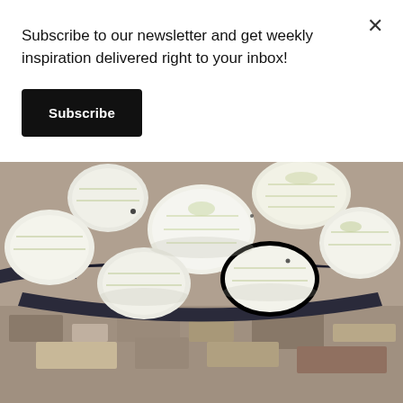Subscribe to our newsletter and get weekly inspiration delivered right to your inbox!
Subscribe
[Figure (photo): Close-up photo of chopped white onions in a dark-rimmed bowl on a granite surface]